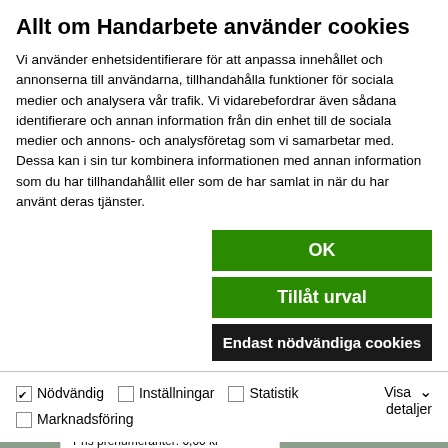Allt om Handarbete använder cookies
Vi använder enhetsidentifierare för att anpassa innehållet och annonserna till användarna, tillhandahålla funktioner för sociala medier och analysera vår trafik. Vi vidarebefordrar även sådana identifierare och annan information från din enhet till de sociala medier och annons- och analysföretag som vi samarbetar med. Dessa kan i sin tur kombinera informationen med annan information som du har tillhandahållit eller som de har samlat in när du har använt deras tjänster.
OK
Tillåt urval
Endast nödvändiga cookies
Nödvändig  Inställningar  Statistik  Marknadsföring
Visa detaljer
Cargoshorts
Ordinarie pris: 39,95 kr
Pris prenumeranter: 0,00 kr